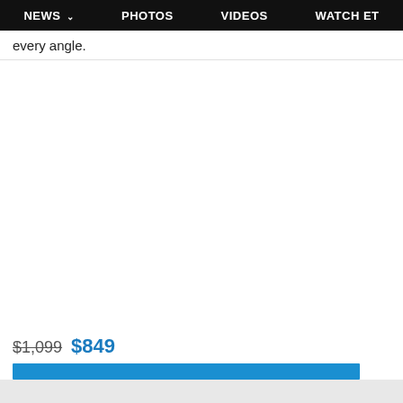NEWS ▾   PHOTOS   VIDEOS   WATCH ET
every angle.
$1,099 $849
[Figure (other): Blue call-to-action button bar]